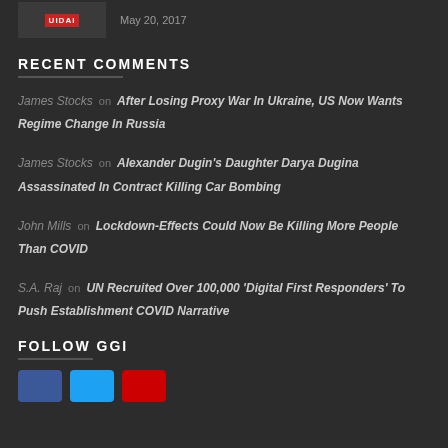May 20, 2017
RECENT COMMENTS
James Stocks on After Losing Proxy War In Ukraine, US Now Wants Regime Change In Russia
James Stocks on Alexander Dugin's Daughter Darya Dugina Assassinated In Contract Killing Car Bombing
John Mills on Lockdown-Effects Could Now Be Killing More People Than COVID
S.A. Raj on UN Recruited Over 100,000 'Digital First Responders' To Push Establishment COVID Narrative
FOLLOW GGI